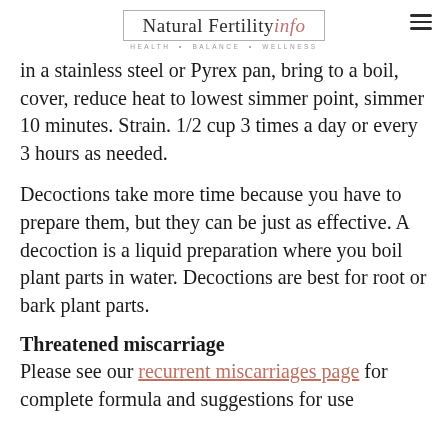Natural Fertility info — HEALTH • BALANCE • WELLNESS
in a stainless steel or Pyrex pan, bring to a boil, cover, reduce heat to lowest simmer point, simmer 10 minutes. Strain. 1/2 cup 3 times a day or every 3 hours as needed.
Decoctions take more time because you have to prepare them, but they can be just as effective. A decoction is a liquid preparation where you boil plant parts in water. Decoctions are best for root or bark plant parts.
Threatened miscarriage
Please see our recurrent miscarriages page for complete formula and suggestions for use